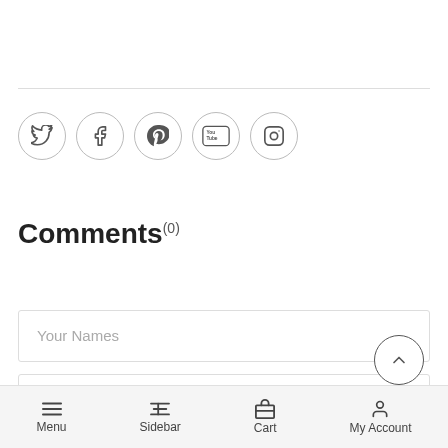[Figure (other): Row of five social media icon circles: Twitter, Facebook, Pinterest, YouTube, Instagram]
Comments(0)
Your Names
Your Email
Menu  Sidebar  Cart  My Account